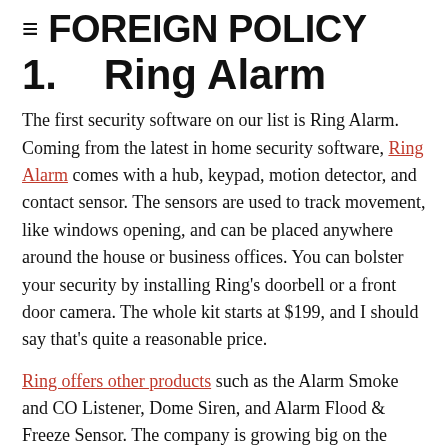≡ FOREIGN POLICY
1.   Ring Alarm
The first security software on our list is Ring Alarm. Coming from the latest in home security software, Ring Alarm comes with a hub, keypad, motion detector, and contact sensor. The sensors are used to track movement, like windows opening, and can be placed anywhere around the house or business offices. You can bolster your security by installing Ring's doorbell or a front door camera. The whole kit starts at $199, and I should say that's quite a reasonable price.
Ring offers other products such as the Alarm Smoke and CO Listener, Dome Siren, and Alarm Flood & Freeze Sensor. The company is growing big on the market and promises that you'll be able to connect to the most advanced security…